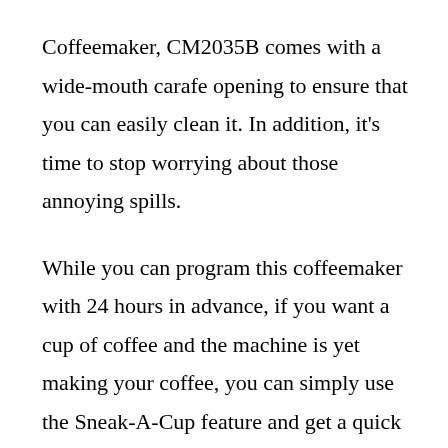Coffeemaker, CM2035B comes with a wide-mouth carafe opening to ensure that you can easily clean it. In addition, it's time to stop worrying about those annoying spills.
While you can program this coffeemaker with 24 hours in advance, if you want a cup of coffee and the machine is yet making your coffee, you can simply use the Sneak-A-Cup feature and get a quick cup without messing everything up.